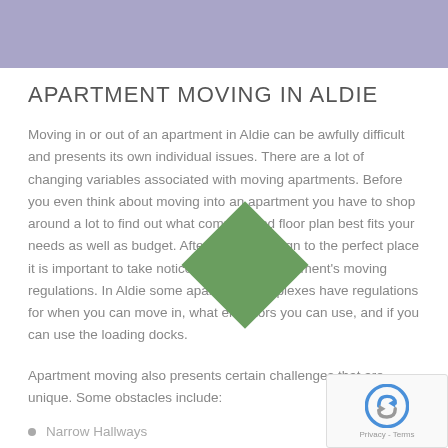APARTMENT MOVING IN ALDIE
Moving in or out of an apartment in Aldie can be awfully difficult and presents its own individual issues. There are a lot of changing variables associated with moving apartments. Before you even think about moving into an apartment you have to shop around a lot to find out what complex and floor plan best fits your needs as well as budget. After you finally sign to the perfect place it is important to take notice of your new apartment’s moving regulations. In Aldie some apartment complexes have regulations for when you can move in, what elevators you can use, and if you can use the loading docks.
Apartment moving also presents certain challenges that are unique. Some obstacles include:
Narrow Hallways